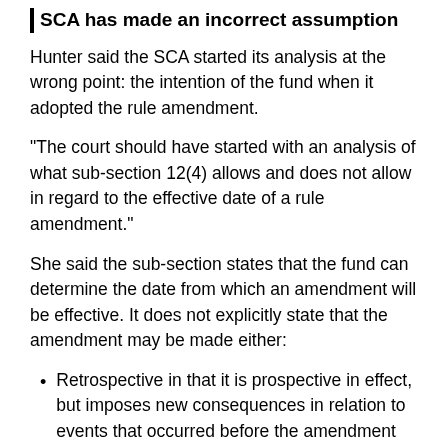SCA has made an incorrect assumption
Hunter said the SCA started its analysis at the wrong point: the intention of the fund when it adopted the rule amendment.
“The court should have started with an analysis of what sub-section 12(4) allows and does not allow in regard to the effective date of a rule amendment.”
She said the sub-section states that the fund can determine the date from which an amendment will be effective. It does not explicitly state that the amendment may be made either:
Retrospective in that it is prospective in effect, but imposes new consequences in relation to events that occurred before the amendment was approved; or
Retroactive in that it changes the rights and obligations of members and the fund from what they were before the amendment was approved, but the